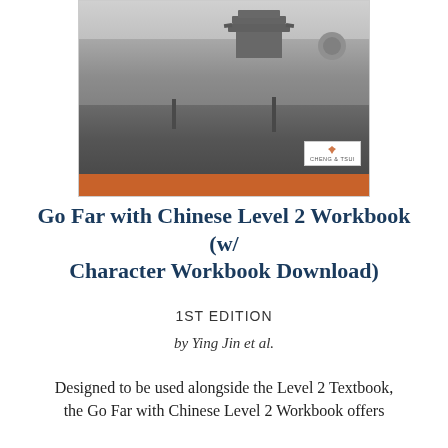[Figure (photo): Black and white photograph of a Chinese city wall with traditional pagoda architecture. A long cobblestone path runs alongside the ancient wall. Cheng & Tsui publisher logo in the bottom right corner. Orange bar at the bottom of the cover image.]
Go Far with Chinese Level 2 Workbook (w/ Character Workbook Download)
1ST EDITION
by Ying Jin et al.
Designed to be used alongside the Level 2 Textbook, the Go Far with Chinese Level 2 Workbook offers